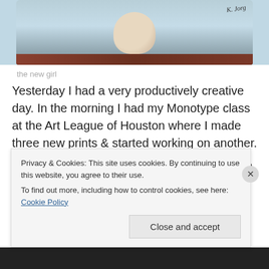[Figure (photo): Partial view of a photo/painting showing a figure with bare shoulders against a blue background, with a handwritten signature in the upper right corner. The bottom of the image shows a dark reddish-brown strip.]
the new girl
Yesterday I had a very productively creative day. In the morning I had my Monotype class at the Art League of Houston where I made three new prints & started working on another.
Then I drove home went straight to my studio & started
Privacy & Cookies: This site uses cookies. By continuing to use this website, you agree to their use.
To find out more, including how to control cookies, see here: Cookie Policy